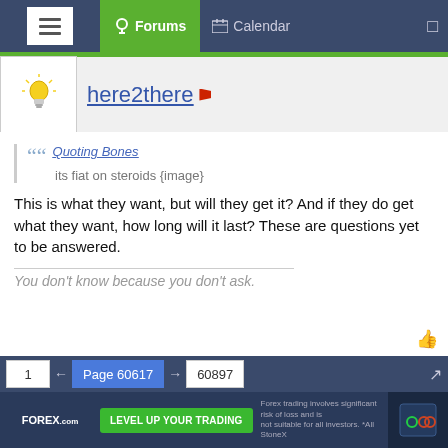Forums   Calendar
here2there
Quoting Bones
its fiat on steroids {image}
This is what they want, but will they get it? And if they do get what they want, how long will it last? These are questions yet to be answered.
You don't know because you don't ask.
[Figure (screenshot): FOREX.com advertisement banner. Top white section with FOREX.com logo. Blue section with text 'The Markets are Moving' and 'Trade market volatility with the #1 US forex broker.']
1  ←  Page 60617  →  60897
[Figure (screenshot): FOREX.com bottom banner ad with green button 'LEVEL UP YOUR TRADING' and disclaimer text about risk of loss.]